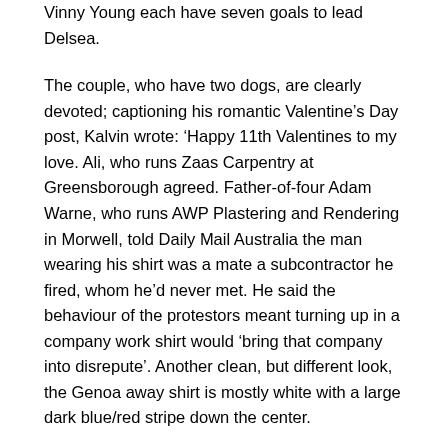Vinny Young each have seven goals to lead Delsea.
The couple, who have two dogs, are clearly devoted; captioning his romantic Valentine's Day post, Kalvin wrote: ‘Happy 11th Valentines to my love. Ali, who runs Zaas Carpentry at Greensborough agreed. Father-of-four Adam Warne, who runs AWP Plastering and Rendering in Morwell, told Daily Mail Australia the man wearing his shirt was a mate a subcontractor he fired, whom he’d never met. He said the behaviour of the protestors meant turning up in a company work shirt would ‘bring that company into disrepute’. Another clean, but different look, the Genoa away shirt is mostly white with a large dark blue/red stripe down the center.
I was playing with people I had watched on TV; Baggio and (Gianluca) Vialli.’ Despite having the technique of a non-League player, Torricelli had such a fearsome work-rate and mad-dog character that he played over 150 games for Juve at full back and was instantly recognisable for his long, dark hair and beard